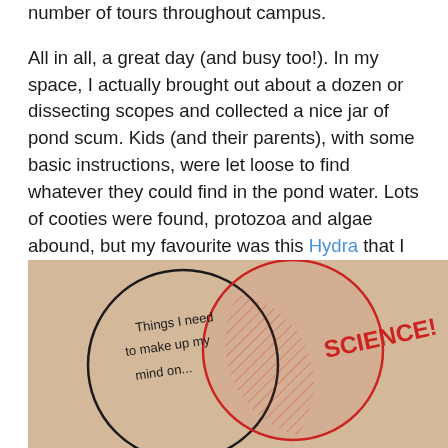number of tours throughout campus.

All in all, a great day (and busy too!). In my space, I actually brought out about a dozen or dissecting scopes and collected a nice jar of pond scum. Kids (and their parents), with some basic instructions, were let loose to find whatever they could find in the pond water. Lots of cooties were found, protozoa and algae abound, but my favourite was this Hydra that I managed to get a decent picture of on my iPhone.
[Figure (photo): A photograph of a hand-drawn Venn diagram on paper. The left circle (black) is labeled 'Things I need to make up my mind on...' and the right circle (red) is labeled 'SCIENCE!' with diagonal hatching in the overlapping region.]